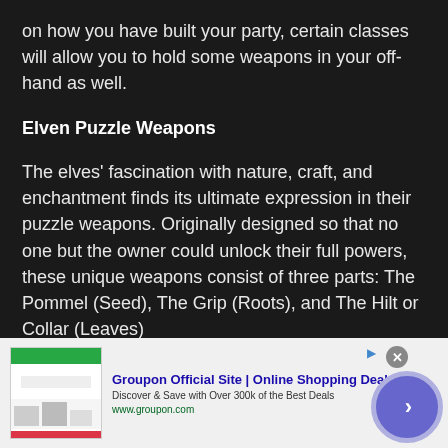on how you have built your party, certain classes will allow you to hold some weapons in your off-hand as well.
Elven Puzzle Weapons
The elves' fascination with nature, craft, and enchantment finds its ultimate expression in their puzzle weapons. Originally designed so that no one but the owner could unlock their full powers, these unique weapons consist of three parts: The Pommel (Seed), The Grip (Roots), and The Hilt or Collar (Leaves)
[Figure (other): Advertisement banner for Groupon Official Site showing logo, text 'Discover & Save with Over 300k of the Best Deals', URL www.groupon.com, and a navigation arrow button]